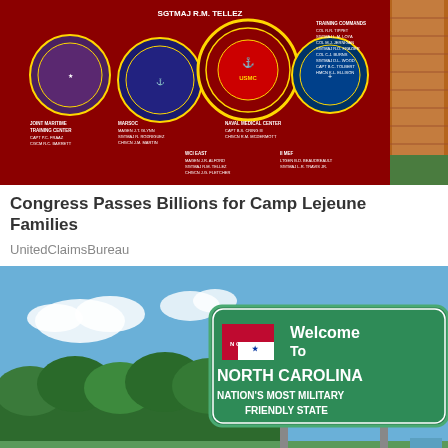[Figure (photo): A red military sign board at Camp Lejeune showing unit insignia seals and names including MARSOC, Naval Medical Center, WCI EAST, II MEF, and Training Commands. The sign reads SGTMAJ R.M. TELLEZ at the top.]
Congress Passes Billions for Camp Lejeune Families
UnitedClaimsBureau
[Figure (photo): A green highway welcome sign reading: Welcome To NORTH CAROLINA NATION'S MOST MILITARY FRIENDLY STATE, with the North Carolina state flag depicted on the sign. Blue sky and green trees in the background.]